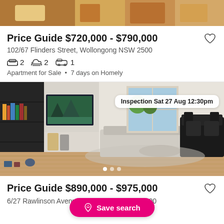[Figure (photo): Top portion of a property listing photo showing food/kitchen items, partially cropped]
Price Guide $720,000 - $790,000
102/67 Flinders Street, Wollongong NSW 2500
2 bedrooms, 2 bathrooms, 1 car space
Apartment for Sale • 7 days on Homely
[Figure (photo): Interior living room photo showing a dark bookshelf with TV, open plan living area with sofa, hardwood floors, and windows with natural light. Inspection badge reads: Inspection Sat 27 Aug 12:30pm]
Price Guide $890,000 - $975,000
6/27 Rawlinson Avenue, Wollongong NSW 2500